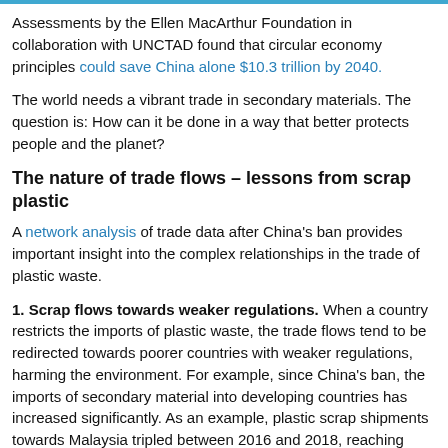Assessments by the Ellen MacArthur Foundation in collaboration with UNCTAD found that circular economy principles could save China alone $10.3 trillion by 2040.
The world needs a vibrant trade in secondary materials. The question is: How can it be done in a way that better protects people and the planet?
The nature of trade flows – lessons from scrap plastic
A network analysis of trade data after China's ban provides important insight into the complex relationships in the trade of plastic waste.
1. Scrap flows towards weaker regulations. When a country restricts the imports of plastic waste, the trade flows tend to be redirected towards poorer countries with weaker regulations, harming the environment. For example, since China's ban, the imports of secondary material into developing countries has increased significantly. As an example, plastic scrap shipments towards Malaysia tripled between 2016 and 2018, reaching 870,000 tons after China's restrictions.
But scrap materials do not flow from more developed to less developed countries in a linear way. For example, there are stronger